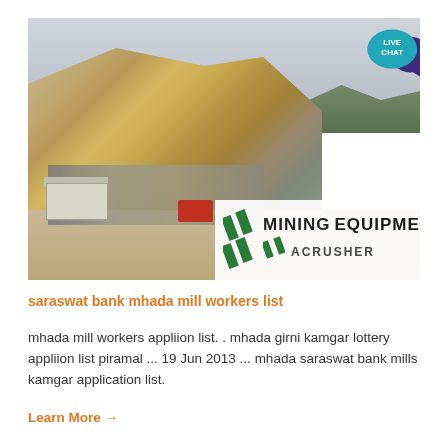[Figure (photo): Aerial/ground view of an open-pit mining quarry with large rock face, machinery, small buildings, and a red truck on a dirt road. Overlay in bottom-right corner shows 'MINING EQUIPMENT ACRUSHER' logo with green diagonal stripes. A 'LIVE CHAT' speech bubble icon is in the top-right corner of the image.]
saraswat bank mhada mill workers list
mhada mill workers appliion list. . mhada girni kamgar lottery appliion list piramal ... 19 Jun 2013 ... mhada saraswat bank mills kamgar application list.
Learn More →